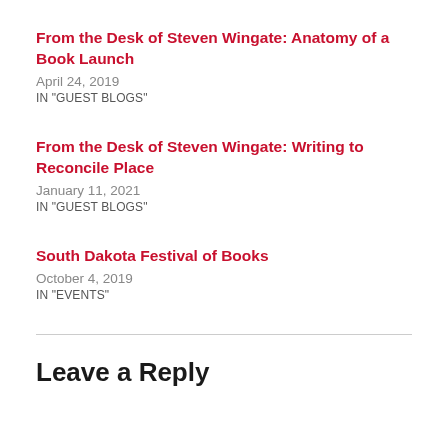From the Desk of Steven Wingate: Anatomy of a Book Launch
April 24, 2019
IN "GUEST BLOGS"
From the Desk of Steven Wingate: Writing to Reconcile Place
January 11, 2021
IN "GUEST BLOGS"
South Dakota Festival of Books
October 4, 2019
IN "EVENTS"
Leave a Reply